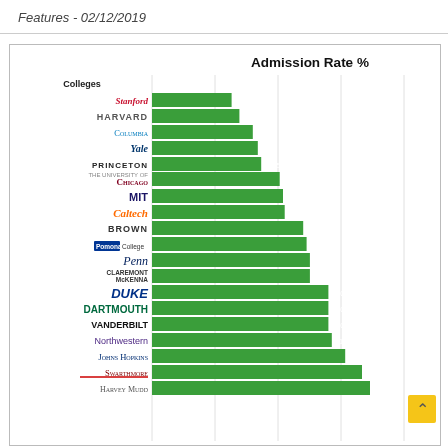Features - 02/12/2019
[Figure (bar-chart): Admission Rate %]